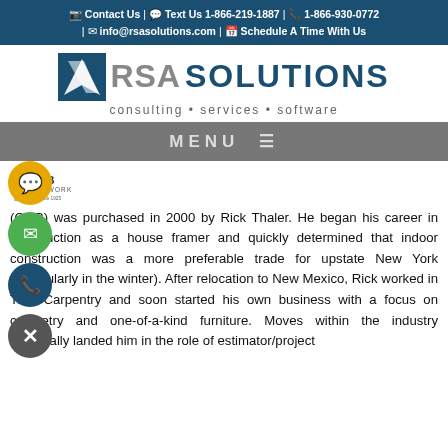Contact Us | Text Us 1-866-219-1887 | 1-866-930-0772 | info@rsasolutions.com | Schedule A Time With Us
[Figure (logo): RSA Solutions logo with blue badge and tagline: consulting • services • software]
MENU ≡
[Figure (logo): OGB Millwork Since 1925 logo]
(OGB) was purchased in 2000 by Rick Thaler. He began his career in construction as a house framer and quickly determined that indoor construction was a more preferable trade for upstate New York (particularly in the winter). After relocation to New Mexico, Rick worked in Trim Carpentry and soon started his own business with a focus on cabinetry and one-of-a-kind furniture. Moves within the industry eventually landed him in the role of estimator/project